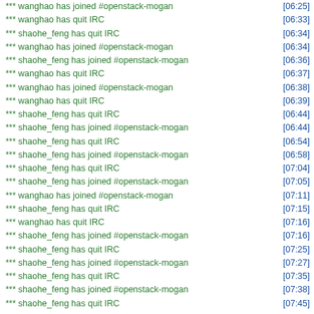*** wanghao has joined #openstack-mogan [06:25]
*** wanghao has quit IRC [06:33]
*** shaohe_feng has quit IRC [06:34]
*** wanghao has joined #openstack-mogan [06:34]
*** shaohe_feng has joined #openstack-mogan [06:36]
*** wanghao has quit IRC [06:37]
*** wanghao has joined #openstack-mogan [06:38]
*** wanghao has quit IRC [06:39]
*** shaohe_feng has quit IRC [06:44]
*** shaohe_feng has joined #openstack-mogan [06:44]
*** shaohe_feng has quit IRC [06:54]
*** shaohe_feng has joined #openstack-mogan [06:58]
*** shaohe_feng has quit IRC [07:04]
*** shaohe_feng has joined #openstack-mogan [07:05]
*** wanghao has joined #openstack-mogan [07:11]
*** shaohe_feng has quit IRC [07:15]
*** wanghao has quit IRC [07:16]
*** shaohe_feng has joined #openstack-mogan [07:16]
*** shaohe_feng has quit IRC [07:25]
*** shaohe_feng has joined #openstack-mogan [07:27]
*** shaohe_feng has quit IRC [07:35]
*** shaohe_feng has joined #openstack-mogan [07:38]
*** shaohe_feng has quit IRC [07:45]